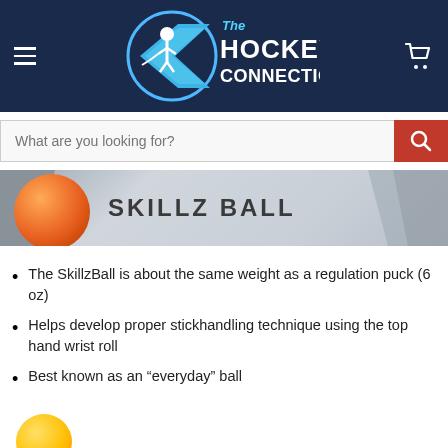[Figure (logo): The Hockey Connection logo with hockey player and chevron arrow, white and blue text on dark navy background]
What are you looking for?
[Figure (illustration): Orange ball (SkillzBall) on a gray gradient banner with the text SKILLZ BALL]
The SkillzBall is about the same weight as a regulation puck (6 oz)
Helps develop proper stickhandling technique using the top hand wrist roll
Best known as an “everyday” ball